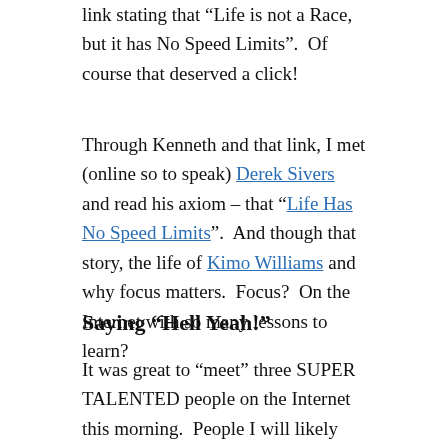link stating that “Life is not a Race, but it has No Speed Limits”.  Of course that deserved a click!
Through Kenneth and that link, I met (online so to speak) Derek Sivers and read his axiom – that “Life Has No Speed Limits”.  And though that story, the life of Kimo Williams and why focus matters.  Focus?  On the Internet with so many lessons to learn?
Saying “Hell Yeah!”
It was great to “meet” three SUPER TALENTED people on the Internet this morning.  People I will likely never meet in person or even